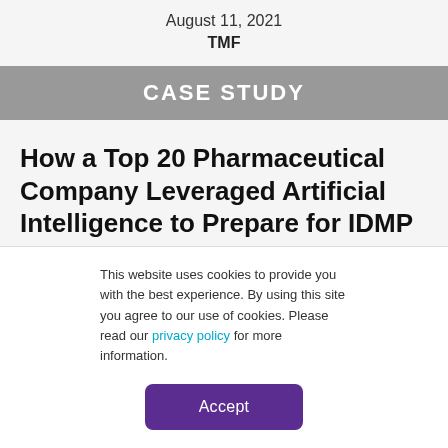August 11, 2021
TMF
CASE STUDY
How a Top 20 Pharmaceutical Company Leveraged Artificial Intelligence to Prepare for IDMP
This website uses cookies to provide you with the best experience. By using this site you agree to our use of cookies. Please read our privacy policy for more information.